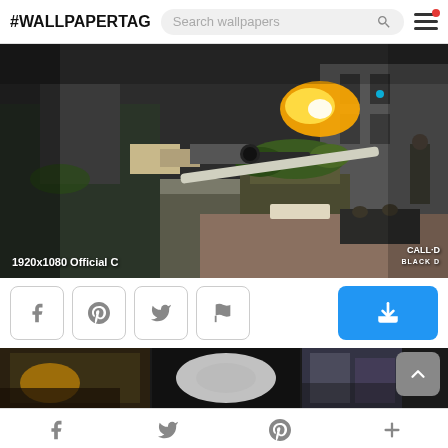#WALLPAPERTAG
[Figure (screenshot): Call of Duty Black Ops sniper shooter game scene, 1920x1080 Official C watermark, dark urban combat environment with muzzle flash]
1920x1080 Official C
[Figure (illustration): Social share buttons: Facebook, Pinterest, Twitter, Flag/Report, and a blue download button]
[Figure (photo): Thumbnail strip of related wallpapers with back-to-top button]
Facebook, Twitter, Pinterest, Plus social navigation icons